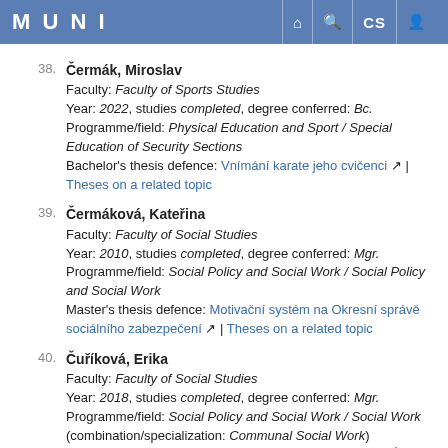MUNI
38. Čermák, Miroslav
Faculty: Faculty of Sports Studies
Year: 2022, studies completed, degree conferred: Bc.
Programme/field: Physical Education and Sport / Special Education of Security Sections
Bachelor's thesis defence: Vnímání karate jeho cvičenci | Theses on a related topic
39. Čermáková, Kateřina
Faculty: Faculty of Social Studies
Year: 2010, studies completed, degree conferred: Mgr.
Programme/field: Social Policy and Social Work / Social Policy and Social Work
Master's thesis defence: Motivační systém na Okresní správě sociálního zabezpečení | Theses on a related topic
40. Čuříková, Erika
Faculty: Faculty of Social Studies
Year: 2018, studies completed, degree conferred: Mgr.
Programme/field: Social Policy and Social Work / Social Work (combination/specialization: Communal Social Work)
Master's thesis defence: Potřeby neformálních pečovatelů